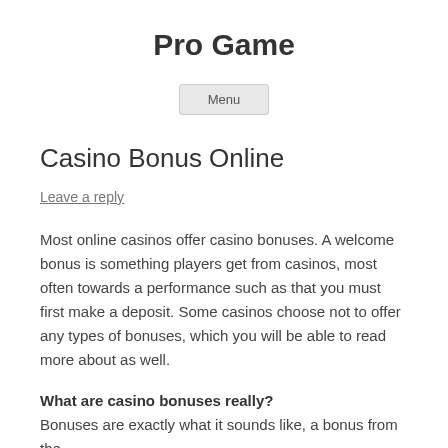Pro Game
Menu
Casino Bonus Online
Leave a reply
Most online casinos offer casino bonuses. A welcome bonus is something players get from casinos, most often towards a performance such as that you must first make a deposit. Some casinos choose not to offer any types of bonuses, which you will be able to read more about as well.
What are casino bonuses really?
Bonuses are exactly what it sounds like, a bonus from the